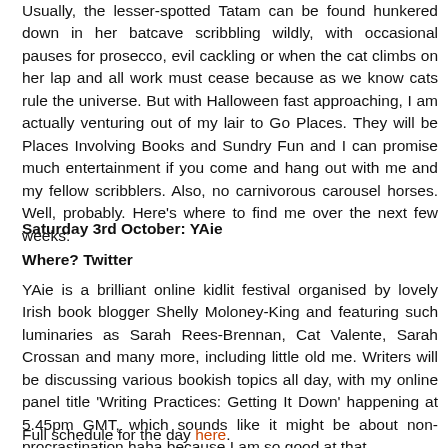Usually, the lesser-spotted Tatam can be found hunkered down in her batcave scribbling wildly, with occasional pauses for prosecco, evil cackling or when the cat climbs on her lap and all work must cease because as we know cats rule the universe. But with Halloween fast approaching, I am actually venturing out of my lair to Go Places. They will be Places Involving Books and Sundry Fun and I can promise much entertainment if you come and hang out with me and my fellow scribblers. Also, no carnivorous carousel horses. Well, probably. Here's where to find me over the next few weeks:
Saturday 3rd October: YAie
Where? Twitter
YAie is a brilliant online kidlit festival organised by lovely Irish book blogger Shelly Moloney-King and featuring such luminaries as Sarah Rees-Brennan, Cat Valente, Sarah Crossan and many more, including little old me. Writers will be discussing various bookish topics all day, with my online panel title 'Writing Practices: Getting It Down' happening at 5.45pm GMT, which sounds like it might be about non-procrastination haha because I am so good at that.
Full schedule for the day here.